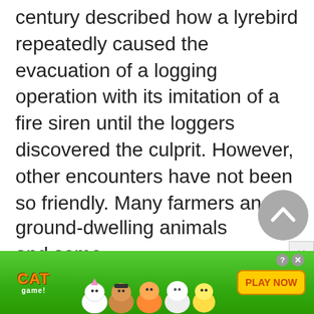century described how a lyrebird repeatedly caused the evacuation of a logging operation with its imitation of a fire siren until the loggers discovered the culprit. However, other encounters have not been so friendly. Many farmers and gardeners are annoyed by the lyrebirds' habit of shuffling through mulch and leaves, and some conservationists have even suggested that the birds are endangering other ground-dwelling animals and some typ…
[Figure (other): Cat Game mobile app advertisement banner at bottom of page with colorful cartoon cat characters on a green background with 'PLAY NOW' button]